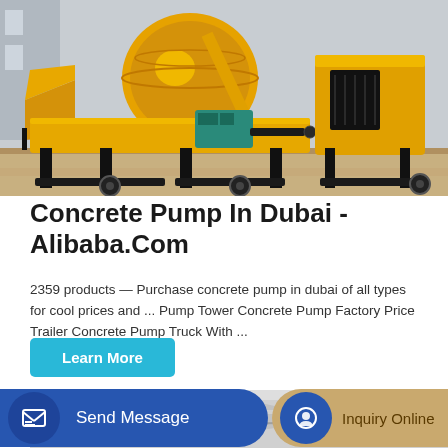[Figure (photo): Yellow concrete pump machine with mixing drum on a construction site]
Concrete Pump In Dubai - Alibaba.Com
2359 products — Purchase concrete pump in dubai of all types for cool prices and ... Pump Tower Concrete Pump Factory Price Trailer Concrete Pump Truck With ...
Learn More
[Figure (photo): Partial view of second product image at bottom of page]
Send Message
Inquiry Online